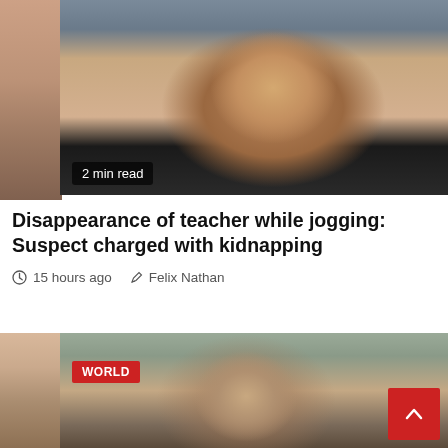[Figure (photo): Photo of a smiling woman with blonde hair pulled back, wearing a black top, outdoors near a vehicle. Badge reads '2 min read'.]
Disappearance of teacher while jogging: Suspect charged with kidnapping
15 hours ago  Felix Nathan
[Figure (photo): Photo of a young man with short brown hair, outdoors. Red 'WORLD' badge overlay in upper left corner.]